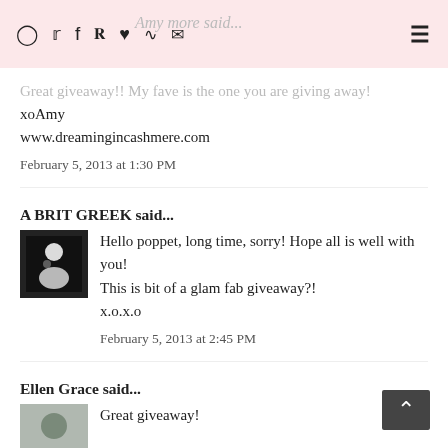Amy more said...
Great giveaway!! My fave is the one you are giving away!
xoAmy
www.dreamingincashmere.com
February 5, 2013 at 1:30 PM
A BRIT GREEK said...
Hello poppet, long time, sorry! Hope all is well with you!
This is bit of a glam fab giveaway?!
x.o.x.o
February 5, 2013 at 2:45 PM
Ellen Grace said...
Great giveaway!
http://alittlebitunique.blogspot.co.uk/